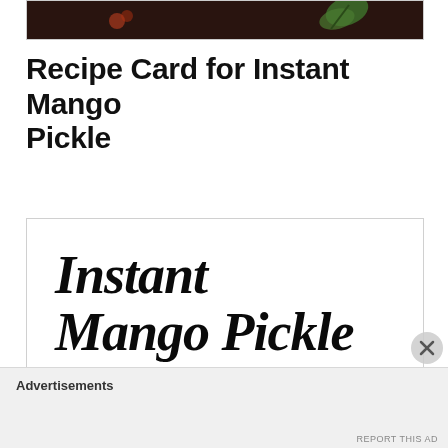[Figure (photo): Top portion of a food photo showing a dark background with a green herb leaf (mint or curry leaf) visible, part of a mango pickle dish]
Recipe Card for Instant Mango Pickle
[Figure (illustration): Recipe card box with decorative script text reading 'Instant Mango Pickle' in large bold italic font]
Advertisements
REPORT THIS AD